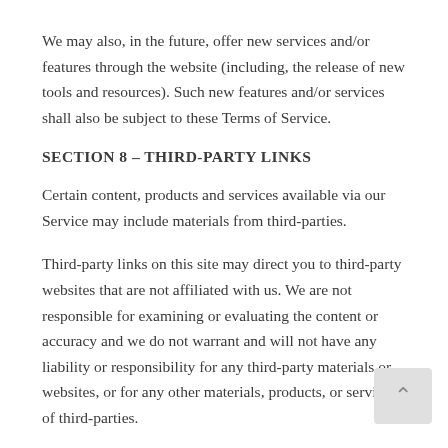We may also, in the future, offer new services and/or features through the website (including, the release of new tools and resources). Such new features and/or services shall also be subject to these Terms of Service.
SECTION 8 – THIRD-PARTY LINKS
Certain content, products and services available via our Service may include materials from third-parties.
Third-party links on this site may direct you to third-party websites that are not affiliated with us. We are not responsible for examining or evaluating the content or accuracy and we do not warrant and will not have any liability or responsibility for any third-party materials or websites, or for any other materials, products, or services of third-parties.
We are not liable for any harm or damages related to the purchase or use of goods, services, resources, content, or any